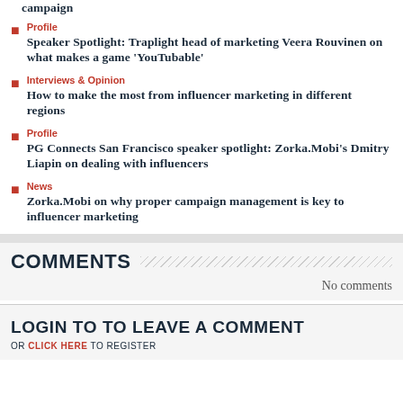campaign
Profile
Speaker Spotlight: Traplight head of marketing Veera Rouvinen on what makes a game 'YouTubable'
Interviews & Opinion
How to make the most from influencer marketing in different regions
Profile
PG Connects San Francisco speaker spotlight: Zorka.Mobi's Dmitry Liapin on dealing with influencers
News
Zorka.Mobi on why proper campaign management is key to influencer marketing
COMMENTS
No comments
LOGIN TO TO LEAVE A COMMENT
OR CLICK HERE TO REGISTER